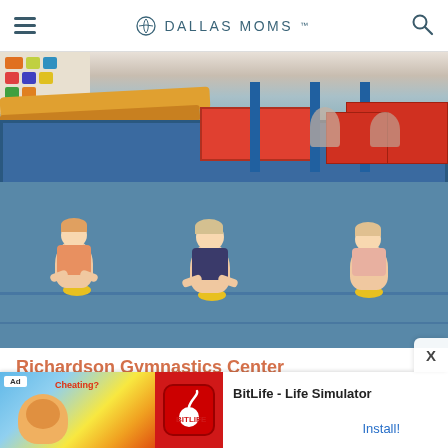DALLAS MOMS
[Figure (photo): Interior of a gymnastics center. Three toddlers in gymnastics poses on a blue mat, leaning forward with hands on yellow spots. Background shows balance beams, foam pits, mats, and other gymnastics equipment.]
Richardson Gymnastics Center
Camps   Fitness & Sports
[Figure (other): Advertisement banner for BitLife - Life Simulator app. Shows 'Ad' badge, a promotional graphic with flexing arm, BitLife logo on red background, app title 'BitLife - Life Simulator', and 'Install!' call to action link.]